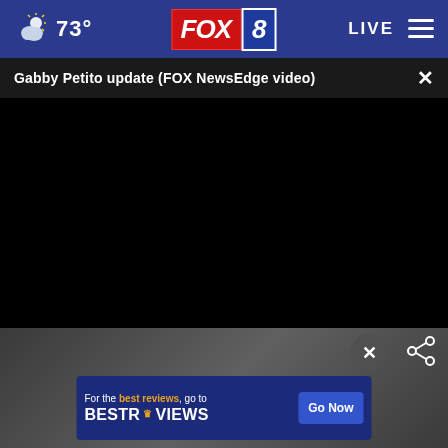73° FOX 8 LIVE
Gabby Petito update (FOX NewsEdge video)
[Figure (screenshot): Black video player area showing no content loaded]
[Figure (screenshot): Photo background area with close button, share icon, and BestReviews advertisement banner reading: For the best reviews, go to BESTREVIEWS - Go Now button]
For the best reviews, go to BESTREVIEWS - Go Now